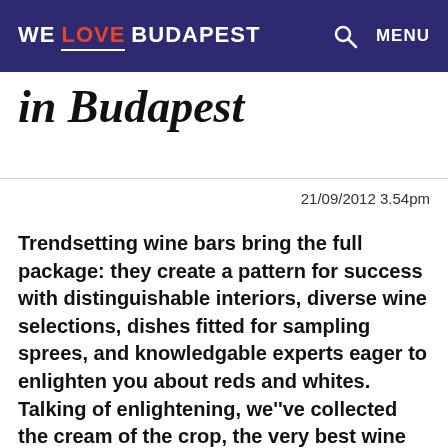WE LOVE BUDAPEST  🔍  MENU
in Budapest
21/09/2012 3.54pm
Trendsetting wine bars bring the full package: they create a pattern for success with distinguishable interiors, diverse wine selections, dishes fitted for sampling sprees, and knowledgable experts eager to enlighten you about reds and whites. Talking of enlightening, we''ve collected the cream of the crop, the very best wine bars in Budapest. Scan through our list,